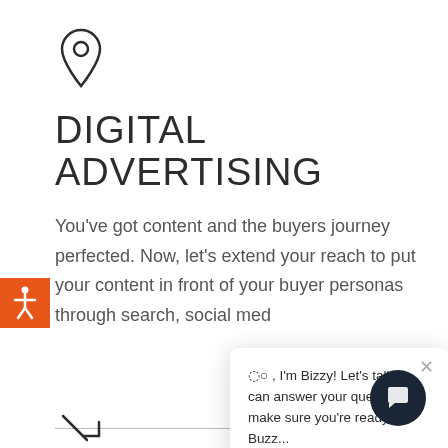[Figure (illustration): Location pin / map marker icon, outlined style, dark gray]
DIGITAL ADVERTISING
You've got content and the buyers journey perfected. Now, let's extend your reach to put your content in front of your buyer personas through search, social med
[Figure (illustration): Orange accessibility icon (person with arms out) on orange square background]
[Figure (screenshot): Chat popup overlay with close X button and text: '¶¶ , I'm Bizzy! Let's talk, I can answer your questions & make sure you're ready to Buzz...']
[Figure (illustration): Dark circular chat bubble button icon in bottom right corner]
[Figure (illustration): Edit/pencil icon partially visible at bottom left]